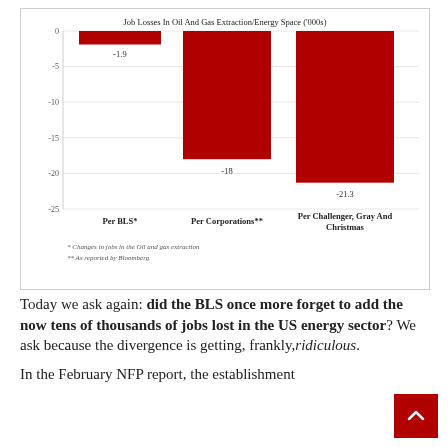[Figure (bar-chart): Job Losses In Oil And Gas Extraction/Energy Space ('000s)]
Today we ask again: did the BLS once more forget to add the now tens of thousands of jobs lost in the US energy sector? We ask because the divergence is getting, frankly,ridiculous.
In the February NFP report, the establishment